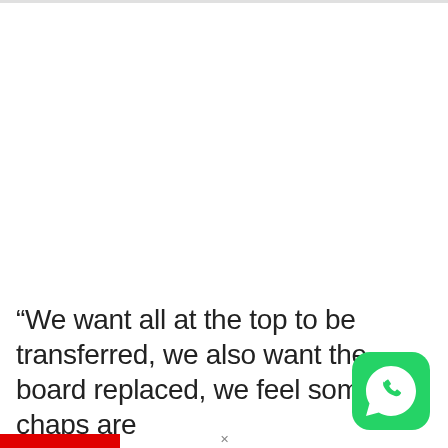“We want all at the top to be transferred, we also want the board replaced, we feel some chaps are
[Figure (logo): WhatsApp logo icon — green rounded square with white phone/chat bubble icon]